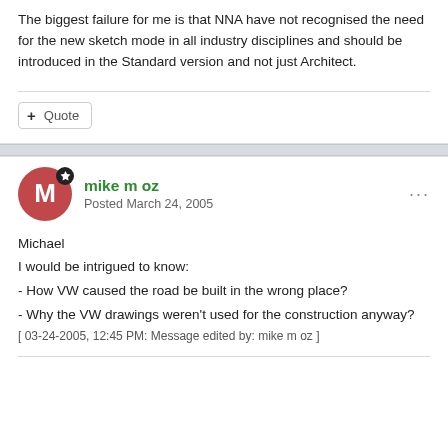The biggest failure for me is that NNA have not recognised the need for the new sketch mode in all industry disciplines and should be introduced in the Standard version and not just Architect.
+ Quote
mike m oz
Posted March 24, 2005
Michael
I would be intrigued to know:
- How VW caused the road be built in the wrong place?
- Why the VW drawings weren't used for the construction anyway?
[ 03-24-2005, 12:45 PM: Message edited by: mike m oz ]